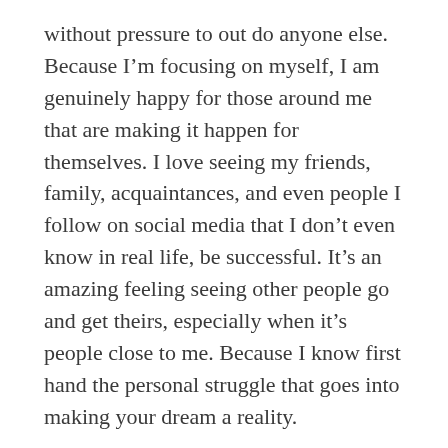without pressure to out do anyone else. Because I'm focusing on myself, I am genuinely happy for those around me that are making it happen for themselves. I love seeing my friends, family, acquaintances, and even people I follow on social media that I don't even know in real life, be successful. It's an amazing feeling seeing other people go and get theirs, especially when it's people close to me. Because I know first hand the personal struggle that goes into making your dream a reality.
I once knew a person that was so insecure that they thought everyone else's accomplishment magnified their own lack of achievement. When it was time to clap for their friends' success, they did so with bitterness in their heart. That's something I never got – people being genuinely salty and offended when someone accomplishes something that they...